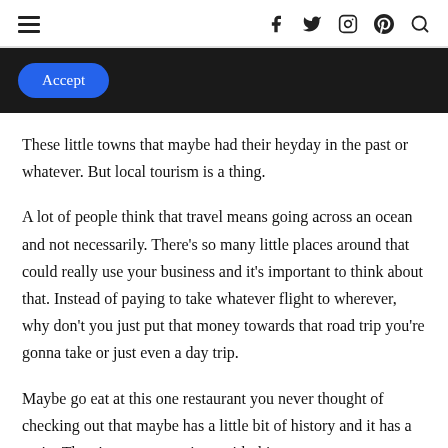≡  f  🐦  ⊙  ℗  🔍
[Figure (screenshot): Cookie consent bar with dark background and blue Accept button]
These little towns that maybe had their heyday in the past or whatever. But local tourism is a thing.
A lot of people think that travel means going across an ocean and not necessarily. There's so many little places around that could really use your business and it's important to think about that. Instead of paying to take whatever flight to wherever, why don't you just put that money towards that road trip you're gonna take or just even a day trip.
Maybe go eat at this one restaurant you never thought of checking out that maybe has a little bit of history and it has a patio. There's so many options with this,